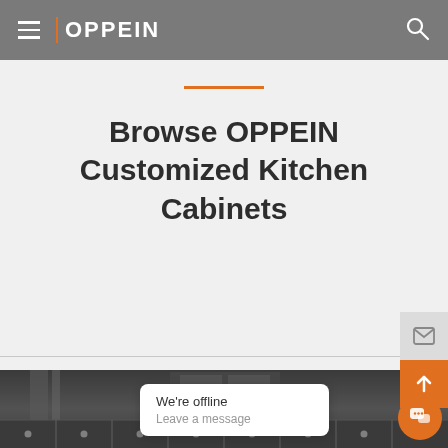OPPEIN
Browse OPPEIN Customized Kitchen Cabinets
[Figure (screenshot): Dark kitchen cabinets image at the bottom of the page]
We're offline
Leave a message